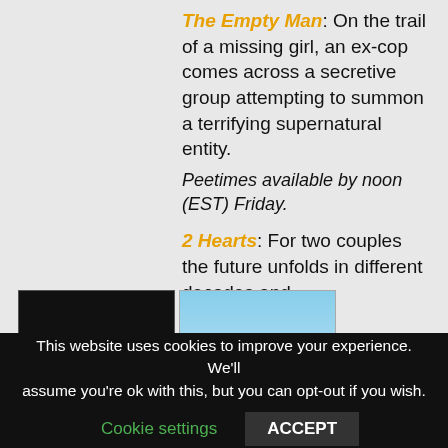The Empty Man: On the trail of a missing girl, an ex-cop comes across a secretive group attempting to summon a terrifying supernatural entity. Peetimes available by noon (EST) Friday.
[Figure (photo): Two movie posters side by side: The Empty Man (dark/black poster with a figure) and 2 Hearts (colorful poster with cast members)]
2 Hearts: For two couples the future unfolds in different decades and
This website uses cookies to improve your experience. We'll assume you're ok with this, but you can opt-out if you wish.
Cookie settings | ACCEPT